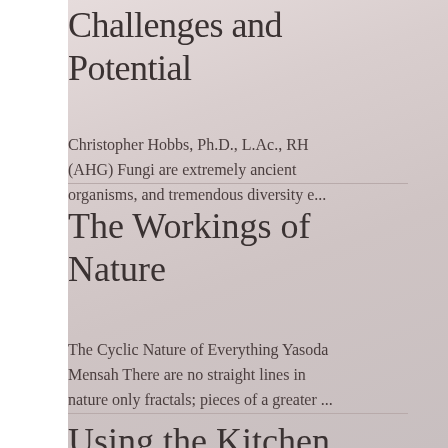Challenges and Potential
Christopher Hobbs, Ph.D., L.Ac., RH (AHG) Fungi are extremely ancient organisms, and tremendous diversity e...
The Workings of Nature
The Cyclic Nature of Everything Yasoda Mensah There are no straight lines in nature only fractals; pieces of a greater ...
Using the Kitchen